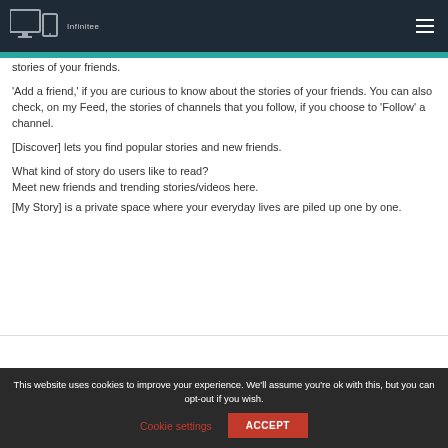Infinitee [logo/navigation header]
stories of your friends.
'Add a friend,' if you are curious to know about the stories of your friends. You can also check, on my Feed, the stories of channels that you follow, if you choose to 'Follow' a channel.
[Discover] lets you find popular stories and new friends.
What kind of story do users like to read?
Meet new friends and trending stories/videos here.
[My Story] is a private space where your everyday lives are piled up one by one.
This website uses cookies to improve your experience. We'll assume you're ok with this, but you can opt-out if you wish.
Cookie settings
ACCEPT